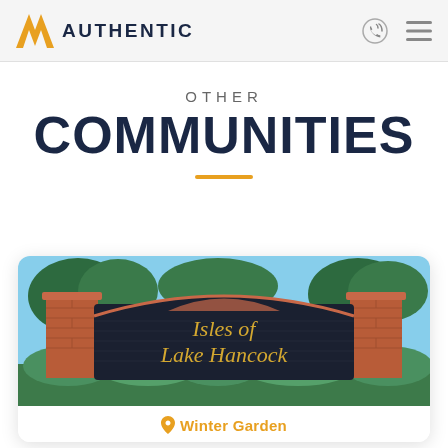AUTHENTIC
OTHER
COMMUNITIES
[Figure (photo): Entrance sign for 'Isles of Lake Hancock' community — brick pillars with dark decorative arch sign showing gold lettering, surrounded by green shrubs and trees with blue sky background.]
Winter Garden